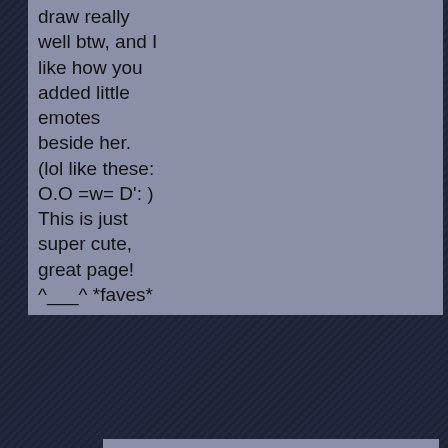draw really well btw, and I like how you added little emotes beside her. (lol like these: O.O =w= D': ) This is just super cute, great page! ^___^ *faves*
rlkitten on July 27, 2010, 1:01:15 PM
[Figure (illustration): Small pixel art of a dark blue-black cat with glowing yellow-green and blue eyes, sitting pose]
Thanks! :D <3
Kooldude on July 27, 2010, 6:52:45 AM
Very cute